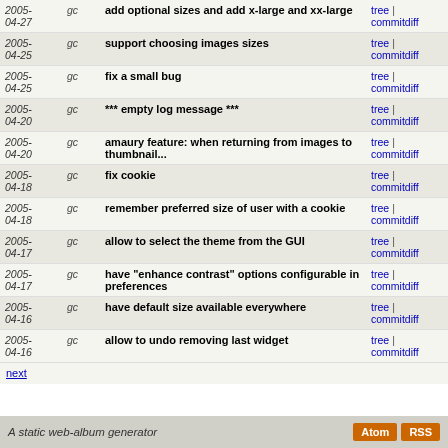| Date | Author | Message | Links |
| --- | --- | --- | --- |
| 2005-04-27 | gc | add optional sizes and add x-large and xx-large | tree | commitdiff |
| 2005-04-25 | gc | support choosing images sizes | tree | commitdiff |
| 2005-04-25 | gc | fix a small bug | tree | commitdiff |
| 2005-04-20 | gc | *** empty log message *** | tree | commitdiff |
| 2005-04-20 | gc | amaury feature: when returning from images to thumbnail... | tree | commitdiff |
| 2005-04-18 | gc | fix cookie | tree | commitdiff |
| 2005-04-18 | gc | remember preferred size of user with a cookie | tree | commitdiff |
| 2005-04-17 | gc | allow to select the theme from the GUI | tree | commitdiff |
| 2005-04-17 | gc | have "enhance contrast" options configurable in preferences | tree | commitdiff |
| 2005-04-16 | gc | have default size available everywhere | tree | commitdiff |
| 2005-04-16 | gc | allow to undo removing last widget | tree | commitdiff |
next
A static web-album generator